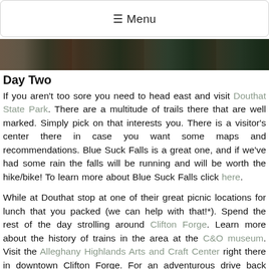≡ Menu
[Figure (photo): Outdoor nature/landscape photo strip showing trees and foliage]
Day Two
If you aren't too sore you need to head east and visit Douthat State Park. There are a multitude of trails there that are well marked. Simply pick on that interests you. There is a visitor's center there in case you want some maps and recommendations. Blue Suck Falls is a great one, and if we've had some rain the falls will be running and will be worth the hike/bike! To learn more about Blue Suck Falls click here.
While at Douthat stop at one of their great picnic locations for lunch that you packed (we can help with that!*). Spend the rest of the day strolling around Clifton Forge. Learn more about the history of trains in the area at the C&O museum. Visit the Alleghany Highlands Arts and Craft Center right there in downtown Clifton Forge. For an adventurous drive back head up what locals call "airport mountain road" (click here for the